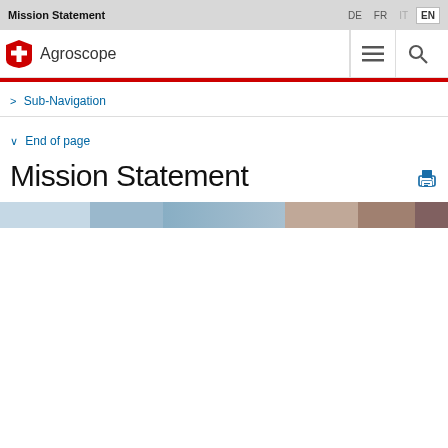Mission Statement
DE  FR  IT  EN
Agroscope
> Sub-Navigation
∨ End of page
Mission Statement
[Figure (photo): Horizontal image strip showing multiple panels: light blue/sky tones on left transitioning to brown/terracotta food imagery on the right]